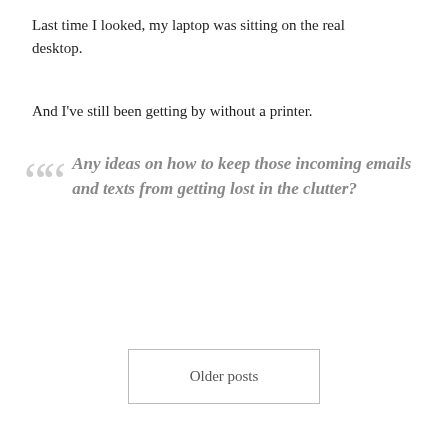that's erroneously called a desktop.
Last time I looked, my laptop was sitting on the real desktop.
And I've still been getting by without a printer.
Any ideas on how to keep those incoming emails and texts from getting lost in the clutter?
Older posts